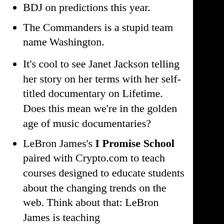BDJ on predictions this year.
The Commanders is a stupid team name Washington.
It's cool to see Janet Jackson telling her story on her terms with her self-titled documentary on Lifetime. Does this mean we're in the golden age of music documentaries?
LeBron James's I Promise School paired with Crypto.com to teach courses designed to educate students about the changing trends on the web. Think about that: LeBron James is teaching Web 3.0 courses for the...